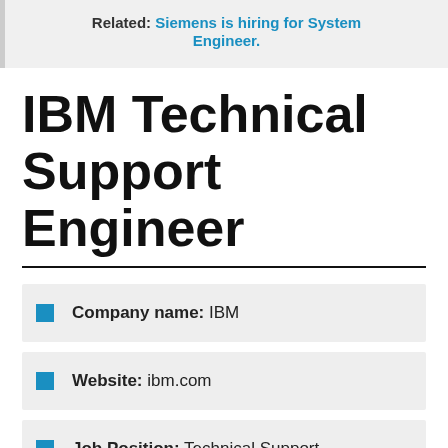Related: Siemens is hiring for System Engineer.
IBM Technical Support Engineer
Company name: IBM
Website: ibm.com
Job Position: Technical Support